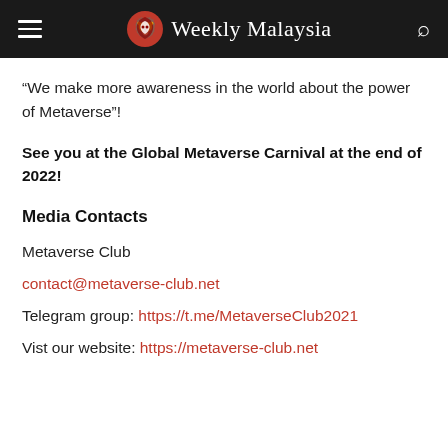Weekly Malaysia
“We make more awareness in the world about the power of Metaverse”!
See you at the Global Metaverse Carnival at the end of 2022!
Media Contacts
Metaverse Club
contact@metaverse-club.net
Telegram group: https://t.me/MetaverseClub2021
Vist our website: https://metaverse-club.net